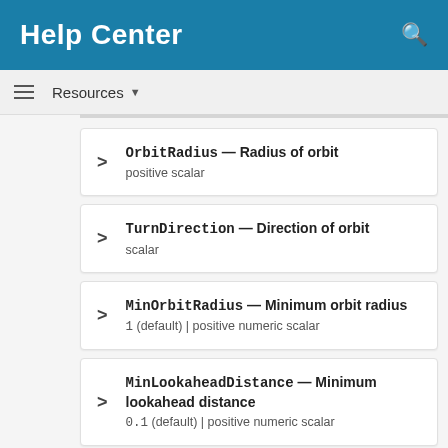Help Center
Resources ▼
OrbitRadius — Radius of orbit | positive scalar
TurnDirection — Direction of orbit | scalar
MinOrbitRadius — Minimum orbit radius | 1 (default) | positive numeric scalar
MinLookaheadDistance — Minimum lookahead distance | 0.1 (default) | positive numeric scalar